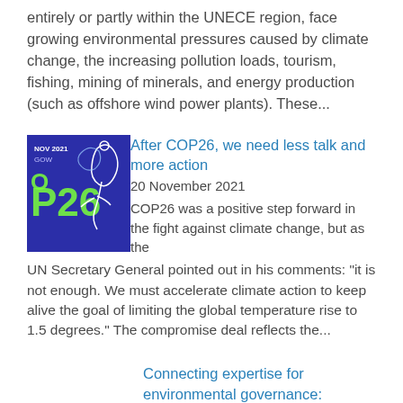entirely or partly within the UNECE region, face growing environmental pressures caused by climate change, the increasing pollution loads, tourism, fishing, mining of minerals, and energy production (such as offshore wind power plants). These...
[Figure (illustration): COP26 Glasgow November 2021 logo image with blue background and white line art figure]
After COP26, we need less talk and more action
20 November 2021
COP26 was a positive step forward in the fight against climate change, but as the UN Secretary General pointed out in his comments: “it is not enough. We must accelerate climate action to keep alive the goal of limiting the global temperature rise to 1.5 degrees.” The compromise deal reflects the...
Connecting expertise for environmental governance: lessons from 25 years of UNECE Environmental Performance Reviews